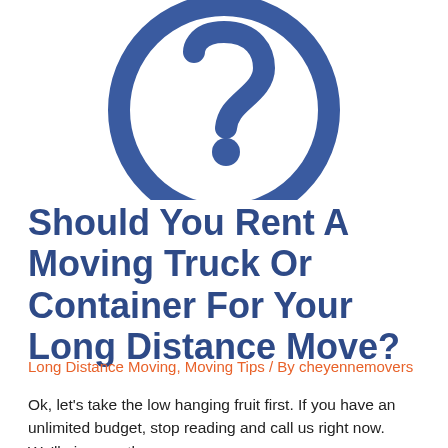[Figure (illustration): A large blue circle outline with a question mark symbol in the center, on a white background.]
Should You Rent A Moving Truck Or Container For Your Long Distance Move?
Long Distance Moving, Moving Tips / By cheyennemovers
Ok, let's take the low hanging fruit first. If you have an unlimited budget, stop reading and call us right now. We'll give you the